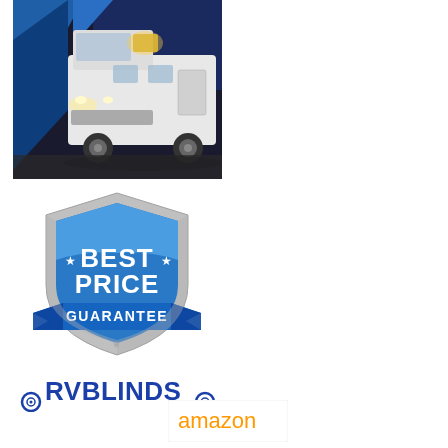[Figure (photo): White Class C RV motorhome at night with interior lights on, parked outdoors. Background shows blue geometric shapes/triangles.]
[Figure (logo): Best Price Guarantee badge/shield in blue and silver with stars and ribbon banner reading GUARANTEE.]
[Figure (logo): RVBLINDS logo in bold blue letters with small wheel/tire icons on either side.]
[Figure (logo): Amazon logo partially visible at bottom right.]